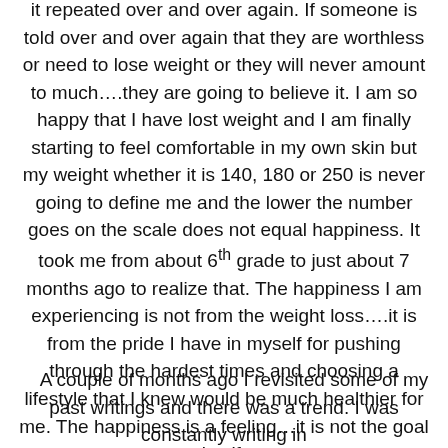it repeated over and over again. If someone is told over and over again that they are worthless or need to lose weight or they will never amount to much….they are going to believe it. I am so happy that I have lost weight and I am finally starting to feel comfortable in my own skin but my weight whether it is 140, 180 or 250 is never going to define me and the lower the number goes on the scale does not equal happiness. It took me from about 6th grade to just about 7 months ago to realize that. The happiness I am experiencing is not from the weight loss….it is from the pride I have in myself for pushing through the hardest times and choosing a lifestyle that I knew would be much healthier for me. The happiness is a feeling…it is not the goal itself.
A couple of months ago I revisited some of my past writings and there was a trend. I was constantly writing in